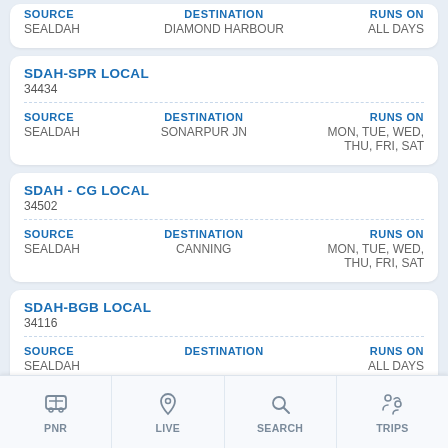SOURCE: SEALDAH | DESTINATION: DIAMOND HARBOUR | RUNS ON: ALL DAYS
SDAH-SPR LOCAL
34434
SOURCE: SEALDAH | DESTINATION: SONARPUR JN | RUNS ON: MON, TUE, WED, THU, FRI, SAT
SDAH - CG LOCAL
34502
SOURCE: SEALDAH | DESTINATION: CANNING | RUNS ON: MON, TUE, WED, THU, FRI, SAT
SDAH-BGB LOCAL
34116
SOURCE: SEALDAH | DESTINATION: (cut off) | RUNS ON: ALL DAYS
PNR | LIVE | SEARCH | TRIPS